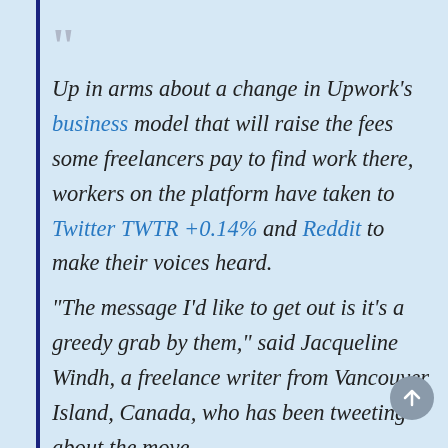Up in arms about a change in Upwork's business model that will raise the fees some freelancers pay to find work there, workers on the platform have taken to Twitter TWTR +0.14% and Reddit to make their voices heard.
“The message I’d like to get out is it’s a greedy grab by them,” said Jacqueline Windh, a freelance writer from Vancouver Island, Canada, who has been tweeting about the move